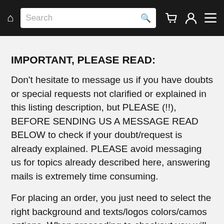Search [navbar with home, cart, user, menu icons]
IMPORTANT, PLEASE READ:
Don't hesitate to message us if you have doubts or special requests not clarified or explained in this listing description, but PLEASE (!!), BEFORE SENDING US A MESSAGE READ BELOW to check if your doubt/request is already explained. PLEASE avoid messaging us for topics already described here, answering mails is extremely time consuming.
For placing an order, you just need to select the right background and texts/logos colors/camos options. When proceeding to checkout you will have the chance to ADD A NOTE TO THE ORDER, please write